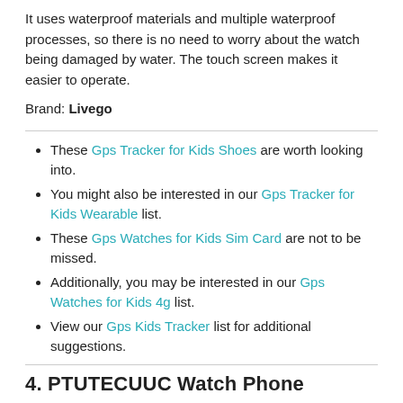It uses waterproof materials and multiple waterproof processes, so there is no need to worry about the watch being damaged by water. The touch screen makes it easier to operate.
Brand: Livego
These Gps Tracker for Kids Shoes are worth looking into.
You might also be interested in our Gps Tracker for Kids Wearable list.
These Gps Watches for Kids Sim Card are not to be missed.
Additionally, you may be interested in our Gps Watches for Kids 4g list.
View our Gps Kids Tracker list for additional suggestions.
4. PTUTECUUC Watch Phone...